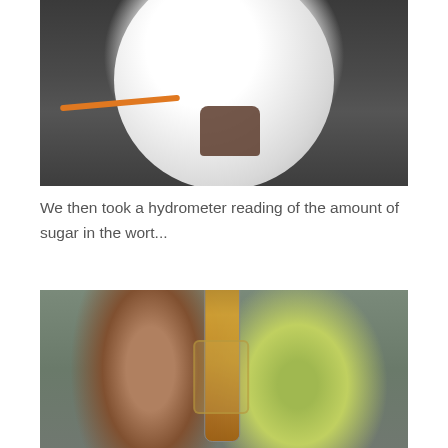[Figure (photo): Close-up photograph of a large white spherical container or vessel on a dark tiled floor, with an orange cord visible and a shoe/foot partially visible beneath it.]
We then took a hydrometer reading of the amount of sugar in the wort...
[Figure (photo): Close-up photograph of a hydrometer instrument in a test tube/cylinder filled with golden/amber liquid (wort), with blurred green and earthy background.]